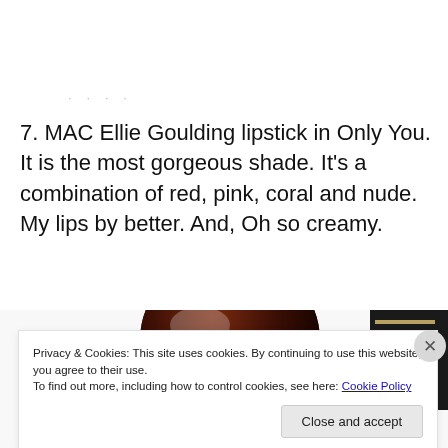· · · ·
7. MAC Ellie Goulding lipstick in Only You. It is the most gorgeous shade. It's a combination of red, pink, coral and nude. My lips by better. And, Oh so creamy.
[Figure (photo): Photo of MAC lipstick products with open caps showing dark red/brown lipstick bullet and black packaging]
Privacy & Cookies: This site uses cookies. By continuing to use this website, you agree to their use.
To find out more, including how to control cookies, see here: Cookie Policy
Close and accept